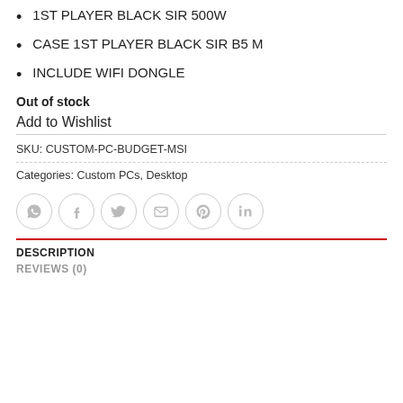1ST PLAYER BLACK SIR 500W
CASE 1ST PLAYER BLACK SIR B5 M
INCLUDE WIFI DONGLE
Out of stock
Add to Wishlist
SKU: CUSTOM-PC-BUDGET-MSI
Categories: Custom PCs, Desktop
[Figure (infographic): Row of six social share icon circles: WhatsApp, Facebook, Twitter, Email, Pinterest, LinkedIn]
DESCRIPTION
REVIEWS (0)